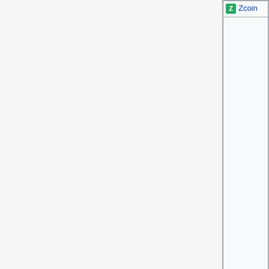| Name | Algorithm | Year |
| --- | --- | --- |
| Zcoin | x25 | 2016 |
Category:
Alternative cryptocurrencies
This page was last edited on 28 July 2020, at 13:10.
Content is available under Creative Commons Attribution 3.0 unless otherwise noted.
Privacy policy · About Bitcoin Wiki · Disclaimers